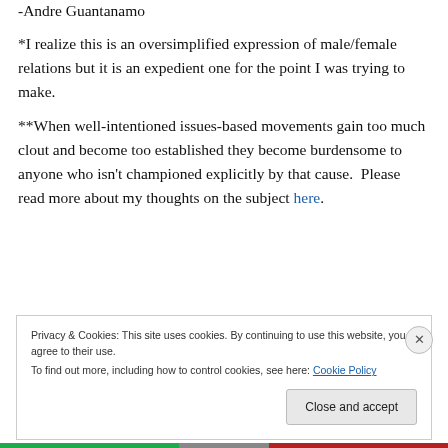-Andre Guantanamo
*I realize this is an oversimplified expression of male/female relations but it is an expedient one for the point I was trying to make.
**When well-intentioned issues-based movements gain too much clout and become too established they become burdensome to anyone who isn't championed explicitly by that cause.  Please read more about my thoughts on the subject here.
Privacy & Cookies: This site uses cookies. By continuing to use this website, you agree to their use. To find out more, including how to control cookies, see here: Cookie Policy
Close and accept